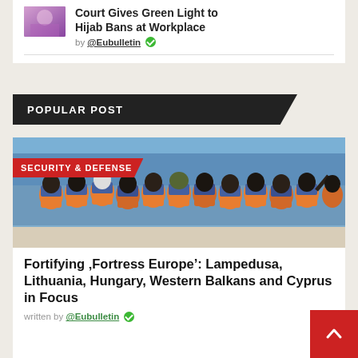[Figure (photo): Thumbnail image showing colorful decorative item (partially cropped at top)]
Court Gives Green Light to Hijab Bans at Workplace
by @Eubulletin ✓
POPULAR POST
[Figure (photo): Group of migrants/refugees wearing orange life vests seen from behind, crowded on a boat with a large blue vessel visible in background. Category badge reads SECURITY & DEFENSE.]
Fortifying 'Fortress Europe': Lampedusa, Lithuania, Hungary, Western Balkans and Cyprus in Focus
Written by @Eubulletin ✓